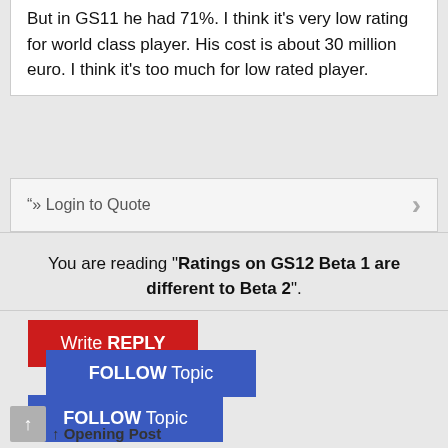But in GS11 he had 71%. I think it's very low rating for world class player. His cost is about 30 million euro. I think it's too much for low rated player.
“» Login to Quote
You are reading "Ratings on GS12 Beta 1 are different to Beta 2".
Write REPLY
FOLLOW Topic
FOLLOW Topic
Opening Post